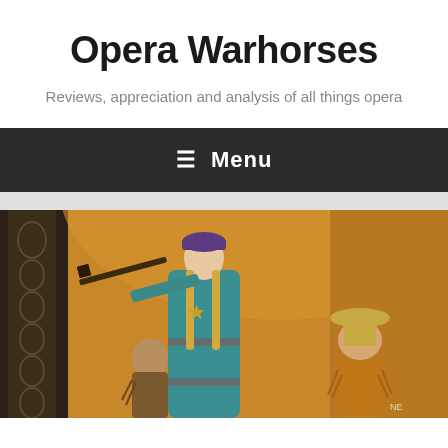Opera Warhorses
Reviews, appreciation and analysis of all things opera
≡  Menu
[Figure (photo): Opera performance scene showing a woman in a teal dress and purple beret holding a rifle, with two other performers beside her — one in Native American costume and one in a cowboy hat and orange fringe jacket. Set appears to be a Western-themed opera stage.]